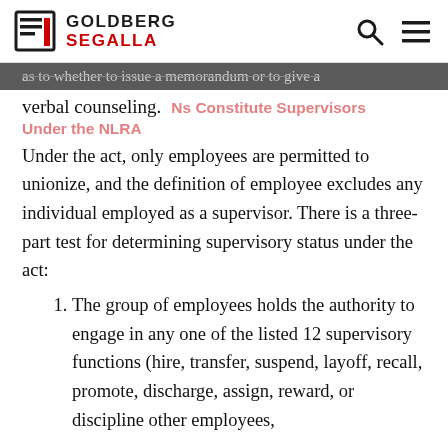Goldberg Segalla
as to whether to issue a memorandum or to give a verbal counseling.
Nursing Aides Constitute Supervisors Under the NLRA
Under the act, only employees are permitted to unionize, and the definition of employee excludes any individual employed as a supervisor. There is a three-part test for determining supervisory status under the act:
The group of employees holds the authority to engage in any one of the listed 12 supervisory functions (hire, transfer, suspend, layoff, recall, promote, discharge, assign, reward, or discipline other employees, direct them, and responsibly to direct their